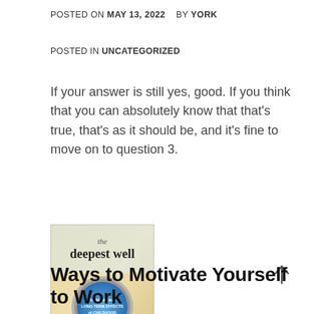POSTED ON MAY 13, 2022   BY YORK
POSTED IN UNCATEGORIZED
If your answer is still yes, good. If you think that you can absolutely know that that’s true, that’s as it should be, and it’s fine to move on to question 3.
[Figure (photo): Book cover of 'the deepest well: Healing the Long-Term Effects of Childhood Adversity' by Nadine Burke Harris, M.D.]
Ways to Motivate Yourself to Work